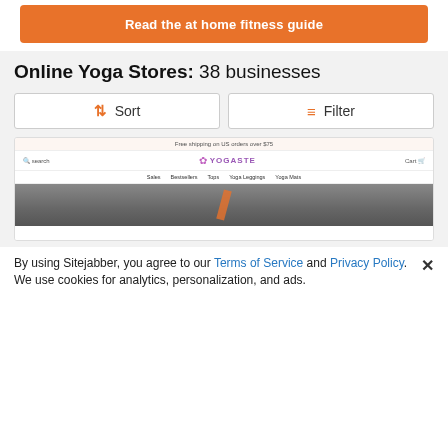[Figure (screenshot): Orange button banner reading 'Read the at home fitness guide']
Online Yoga Stores: 38 businesses
[Figure (screenshot): Sort button with sort icon in orange]
[Figure (screenshot): Filter button with filter icon in orange]
[Figure (screenshot): Screenshot of Yogaste website showing navigation bar, logo, links (Sales, Bestsellers, Tops, Yoga Leggings, Yoga Mats) and a hero image with an orange accent]
By using Sitejabber, you agree to our Terms of Service and Privacy Policy. We use cookies for analytics, personalization, and ads.